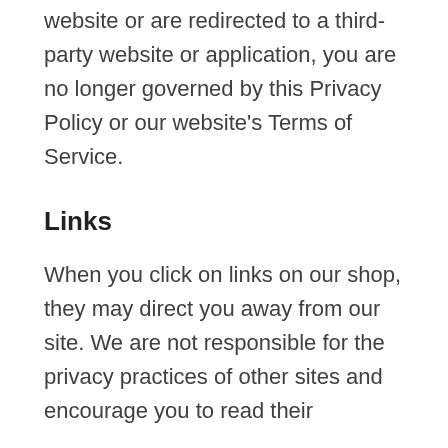website or are redirected to a third-party website or application, you are no longer governed by this Privacy Policy or our website’s Terms of Service.
Links
When you click on links on our shop, they may direct you away from our site. We are not responsible for the privacy practices of other sites and encourage you to read their